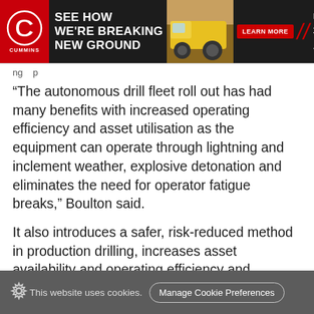[Figure (illustration): Cummins advertisement banner: dark background with Cummins red logo/C emblem on left, bold white text 'SEE HOW WE'RE BREAKING NEW GROUND', image of yellow mining truck in center, red 'LEARN MORE' button, diagonal red slash divider, and tagline 'FOR A WORLD THAT'S ALWAYS ON']
“The autonomous drill fleet roll out has had many benefits with increased operating efficiency and asset utilisation as the equipment can operate through lightning and inclement weather, explosive detonation and eliminates the need for operator fatigue breaks,” Boulton said.
It also introduces a safer, risk-reduced method in production drilling, increases asset availability and operating efficiency and decreases asset wear, according to Macmahon.
While still early days, the autonomous fleet has already
This website uses cookies.  Manage Cookie Preferences